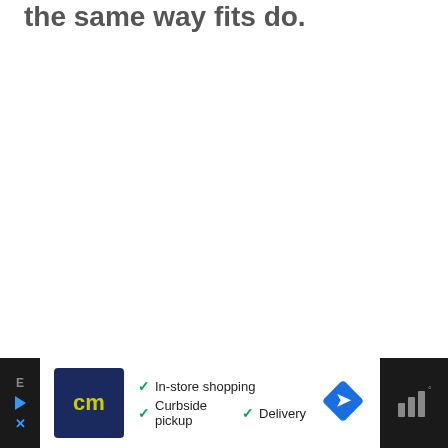the same way fits do.
[Figure (other): Advertisement banner at the bottom of the page. Shows a Canadian Tire (cm) logo on the left, checkmarks for 'In-store shopping', 'Curbside pickup', and 'Delivery' in the center, and a blue navigation diamond icon. Dark strips on left and right sides with navigation/menu icons.]